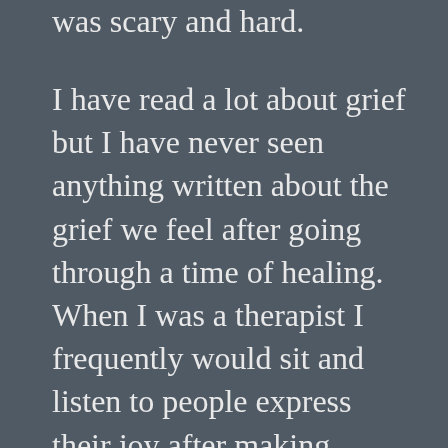was scary and hard.
I have read a lot about grief but I have never seen anything written about the grief we feel after going through a time of healing. When I was a therapist I frequently would sit and listen to people express their joy after making changes in how they thought and felt and the big difference it was making in their life. Then they would grow quiet and